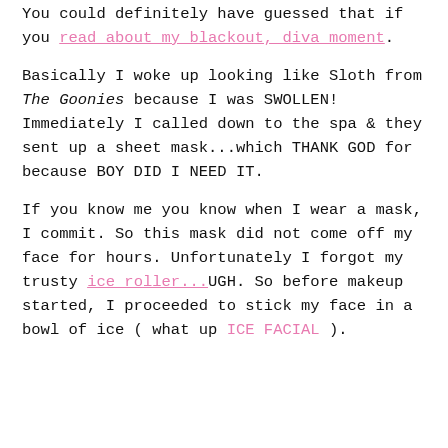You could definitely have guessed that if you read about my blackout, diva moment.
Basically I woke up looking like Sloth from The Goonies because I was SWOLLEN! Immediately I called down to the spa & they sent up a sheet mask...which THANK GOD for because BOY DID I NEED IT.
If you know me you know when I wear a mask, I commit. So this mask did not come off my face for hours. Unfortunately I forgot my trusty ice roller...UGH. So before makeup started, I proceeded to stick my face in a bowl of ice ( what up ICE FACIAL ).